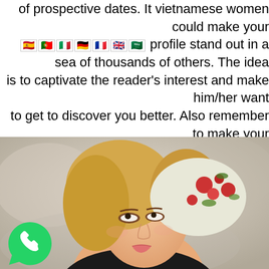of prospective dates. It vietnamese women could make your profile stand out in a sea of thousands of others. The idea is to captivate the reader's interest and make him/her want to get to discover you better. Also remember to make your profile entertaining to read! You'll have more accomplishment with online dating if you produce a memorable and creative tagline!
[Figure (photo): Young blonde woman wearing a floral headscarf, looking upward, soft blurred background]
[Figure (logo): WhatsApp green chat bubble logo in bottom left corner]